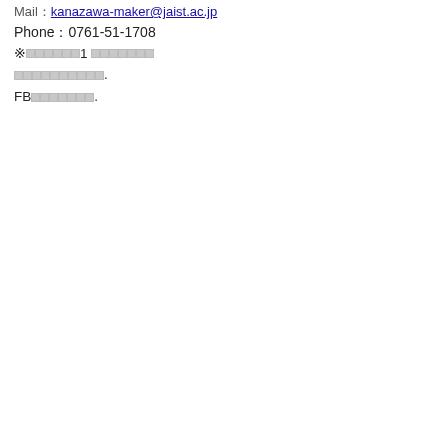Mail：kanazawa-maker@jaist.ac.jp
Phone：0761-51-1708
※□□□□□□1 □□□□□□□
□□□□□□□□□□.
FB□□□□□□□.